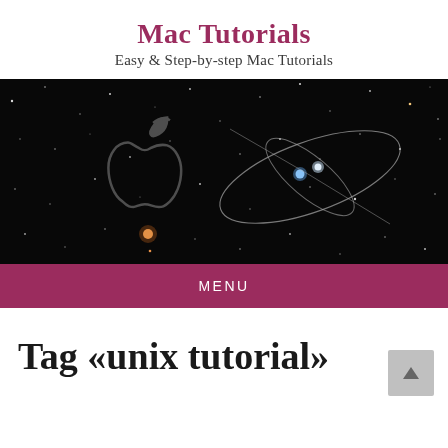Mac Tutorials
Easy & Step-by-step Mac Tutorials
[Figure (photo): Dark space/astronomical background image with Apple logo outline and orbital paths drawn over stars]
MENU
Tag «unix tutorial»